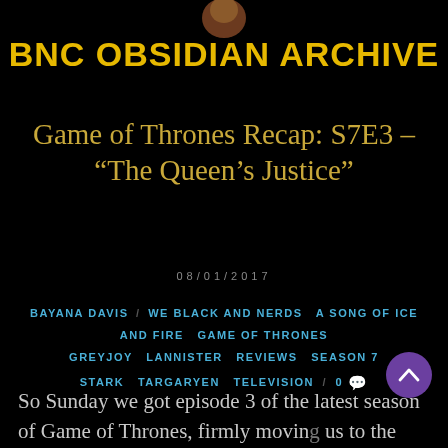[Figure (logo): BNC Obsidian Archive logo icon - brown/dark figure head at top center]
BNC OBSIDIAN ARCHIVE
Game of Thrones Recap: S7E3 – “The Queen’s Justice”
08/01/2017
BAYANA DAVIS / WE BLACK AND NERDS  A SONG OF ICE AND FIRE  GAME OF THRONES  GREYJOY  LANNISTER  REVIEWS  SEASON 7  STARK  TARGARYEN  TELEVISION / 0
So Sunday we got episode 3 of the latest season of Game of Thrones, firmly moving us to the middle of the season. This episode was bittersweet to me, both in tone and